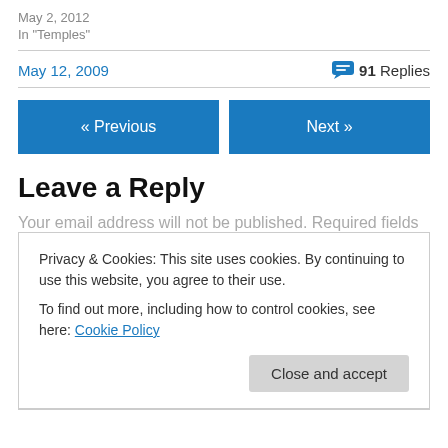May 2, 2012
In "Temples"
May 12, 2009
91 Replies
« Previous
Next »
Leave a Reply
Your email address will not be published. Required fields
Privacy & Cookies: This site uses cookies. By continuing to use this website, you agree to their use.
To find out more, including how to control cookies, see here: Cookie Policy
Close and accept